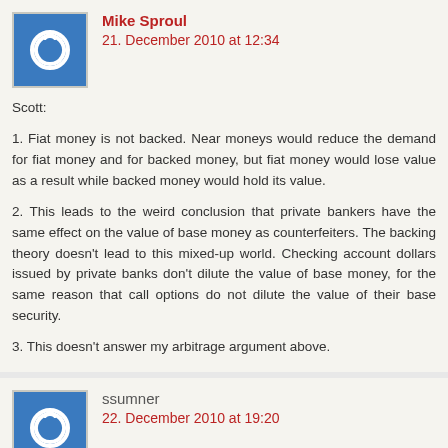Mike Sproul
21. December 2010 at 12:34
Scott:

1. Fiat money is not backed. Near moneys would reduce the demand for fiat money and for backed money, but fiat money would lose value as a result while backed money would hold its value.

2. This leads to the weird conclusion that private bankers have the same effect on the value of base money as counterfeiters. The backing theory doesn't lead to this mixed-up world. Checking account dollars issued by private banks don't dilute the value of base money, for the same reason that call options do not dilute the value of their base security.

3. This doesn't answer my arbitrage argument above.
ssumner
22. December 2010 at 19:20
Mike, I agree that near money reduces the demand for fiat money, but that doesn't make it worthless. Apples reduce the demand for oranges, but oranges still have value.